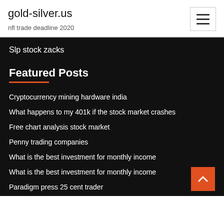gold-silver.us
nfl trade deadline 2020
Featured Posts
Cryptocurrency mining hardware india
What happens to my 401k if the stock market crashes
Free chart analysis stock market
Penny trading companies
What is the best investment for monthly income
What is the best investment for monthly income
Paradigm press 25 cent trader